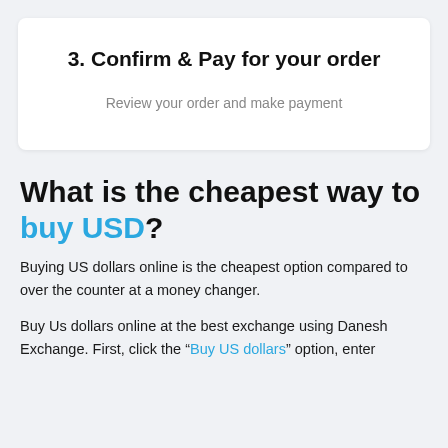3. Confirm & Pay for your order
Review your order and make payment
What is the cheapest way to buy USD?
Buying US dollars online is the cheapest option compared to over the counter at a money changer.
Buy Us dollars online at the best exchange using Danesh Exchange. First, click the “Buy US dollars” option, enter